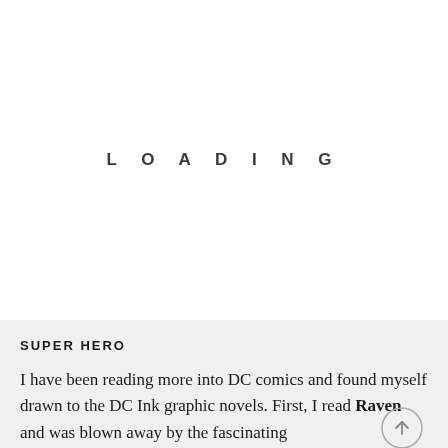LOADING
SUPER HERO
I have been reading more into DC comics and found myself drawn to the DC Ink graphic novels. First, I read Raven and was blown away by the fascinating